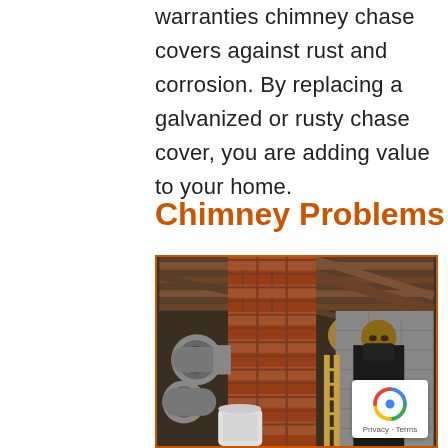warranties chimney chase covers against rust and corrosion. By replacing a galvanized or rusty chase cover, you are adding value to your home.
Chimney Problems
[Figure (photo): A chimney technician wearing a black mask stands next to a large brick chimney with metal flue pipes and a water heater in a basement. The basement has wooden beam ceiling and a light glowing in the background.]